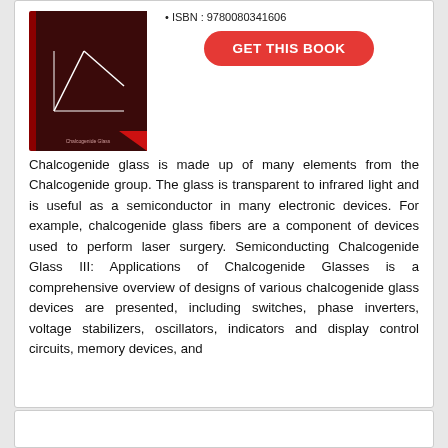ISBN : 9780080341606
[Figure (illustration): Book cover with dark red/maroon background showing white line graph or chart, titled 'Semiconducting Chalcogenide Glass III']
GET THIS BOOK
Chalcogenide glass is made up of many elements from the Chalcogenide group. The glass is transparent to infrared light and is useful as a semiconductor in many electronic devices. For example, chalcogenide glass fibers are a component of devices used to perform laser surgery. Semiconducting Chalcogenide Glass III: Applications of Chalcogenide Glasses is a comprehensive overview of designs of various chalcogenide glass devices are presented, including switches, phase inverters, voltage stabilizers, oscillators, indicators and display control circuits, memory devices, and